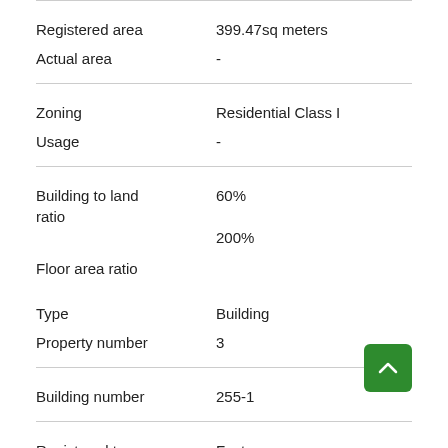| Field | Value |
| --- | --- |
| Registered area | 399.47sq meters |
| Actual area | - |
| Zoning | Residential Class I |
| Usage | - |
| Building to land ratio | 60% |
| Floor area ratio | 200% |
| Type | Building |
| Property number | 3 |
| Building number | 255-1 |
| Registered type | Factory |
| Actual | Warehouse |